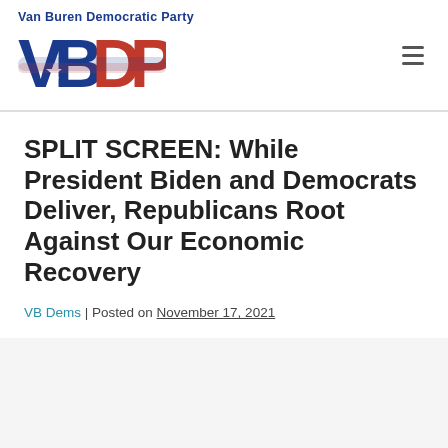Van Buren Democratic Party VBDP logo and navigation
SPLIT SCREEN: While President Biden and Democrats Deliver, Republicans Root Against Our Economic Recovery
VB Dems | Posted on November 17, 2021